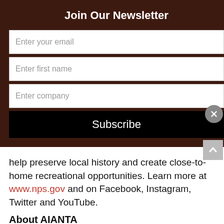Join Our Newsletter
Enter your email
Enter first name
Enter company
Subscribe
help preserve local history and create close-to-home recreational opportunities. Learn more at www.nps.gov and on Facebook, Instagram, Twitter and YouTube.
About AIANTA
For nearly two decades, the American Indian Alaska Native Tourism Association (AIANTA) has served as the national center for providing tourism and recreational travel technical assistance, training and capacity building to American Indian